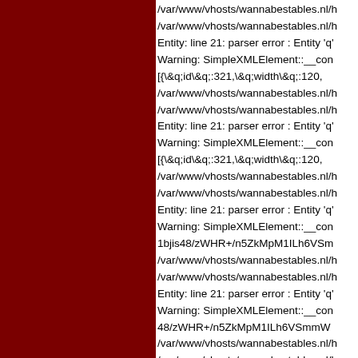[Figure (other): Dark red/maroon left panel taking up approximately the left 44% of the page]
/var/www/vhosts/wannabestables.nl/h
/var/www/vhosts/wannabestables.nl/h
Entity: line 21: parser error : Entity 'q'
Warning: SimpleXMLElement::__con
[{\&q;id\&q;:321,\&q;width\&q;:120,
/var/www/vhosts/wannabestables.nl/h
/var/www/vhosts/wannabestables.nl/h
Entity: line 21: parser error : Entity 'q'
Warning: SimpleXMLElement::__con
[{\&q;id\&q;:321,\&q;width\&q;:120,
/var/www/vhosts/wannabestables.nl/h
/var/www/vhosts/wannabestables.nl/h
Entity: line 21: parser error : Entity 'q'
Warning: SimpleXMLElement::__con
1bjis48/zWHR+/n5ZkMpM1ILh6VSm
/var/www/vhosts/wannabestables.nl/h
/var/www/vhosts/wannabestables.nl/h
Entity: line 21: parser error : Entity 'q'
Warning: SimpleXMLElement::__con
48/zWHR+/n5ZkMpM1ILh6VSmmW
/var/www/vhosts/wannabestables.nl/h
/var/www/vhosts/wannabestables.nl/h
Entity: line 21: parser error : Entity 'q'
Warning: SimpleXMLElement::__con
5ZkMpM1ILh6VSmmWfDGIjr53+Iw